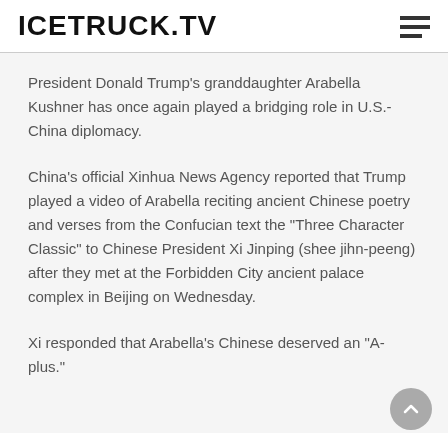ICETRUCK.TV
President Donald Trump's granddaughter Arabella Kushner has once again played a bridging role in U.S.-China diplomacy.
China's official Xinhua News Agency reported that Trump played a video of Arabella reciting ancient Chinese poetry and verses from the Confucian text the "Three Character Classic" to Chinese President Xi Jinping (shee jihn-peeng) after they met at the Forbidden City ancient palace complex in Beijing on Wednesday.
Xi responded that Arabella's Chinese deserved an "A-plus."